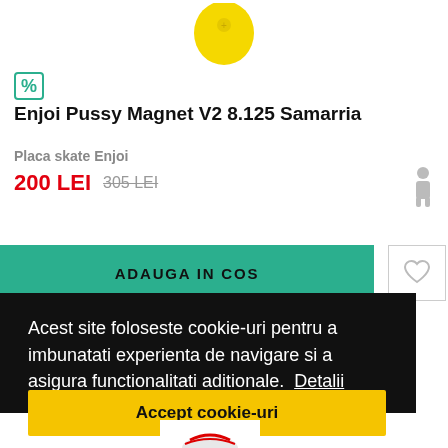[Figure (photo): Partial product image - yellow skate deck partially visible at top center]
[Figure (logo): Discount badge icon with percent symbol in teal border]
Enjoi Pussy Magnet V2 8.125 Samarria
Placa skate Enjoi
200 LEI  305 LEI
[Figure (illustration): Person/human silhouette icon in gray]
ADAUGA IN COS
[Figure (illustration): Heart/wishlist icon in gray outline square button]
Acest site foloseste cookie-uri pentru a imbunatati experienta de navigare si a asigura functionalitati aditionale.  Detalii
Accept cookie-uri
[Figure (photo): Partial product image at bottom - skate item partially visible]